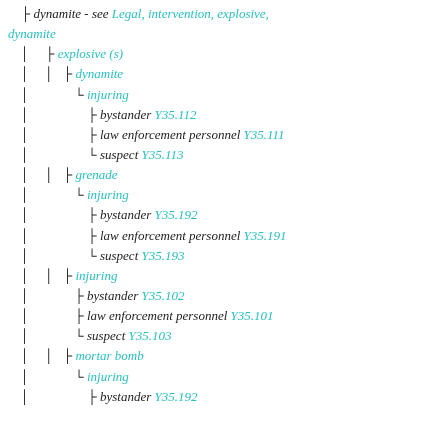├ dynamite - see Legal, intervention, explosive, dynamite
├ explosive (s)
│ ├ dynamite
│ └ injuring
│ ├ bystander Y35.112
│ ├ law enforcement personnel Y35.111
│ └ suspect Y35.113
│ ├ grenade
│ └ injuring
│ ├ bystander Y35.192
│ ├ law enforcement personnel Y35.191
│ └ suspect Y35.193
│ ├ injuring
│ ├ bystander Y35.102
│ ├ law enforcement personnel Y35.101
│ └ suspect Y35.103
│ ├ mortar bomb
│ └ injuring
│ ├ bystander Y35.192